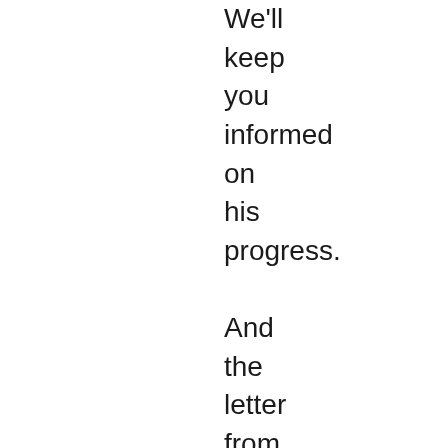We'll keep you informed on his progress.

And the letter from Freddie's dad:

“I had to say….I am Impressed.